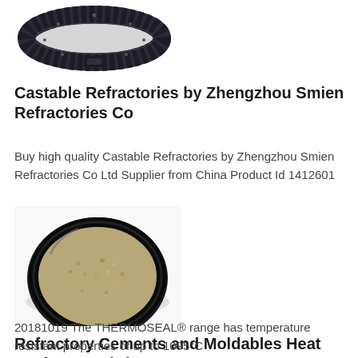[Figure (photo): A dark-colored circular industrial clamp or ring component with textured surface, photographed from above on white background]
Castable Refractories by Zhengzhou Smien Refractories Co
Buy high quality Castable Refractories by Zhengzhou Smien Refractories Co Ltd Supplier from China Product Id 1412601
[Figure (photo): A round plate or petri dish filled with granular tan/brown refractory material or sand, photographed from above on white background]
Refractory Cements and Moldables Heat Resistant Fabric
20181019 The THERMOSEAL® range has temperature resistant properties of up to 1095°C